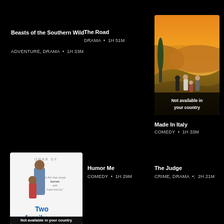Beasts of the Southern Wild
ADVENTURE, DRAMA  •  1H 33M
The Road
DRAMA  •  1H 51M
[Figure (photo): Movie poster for Made in Italy showing family in Italian countryside at sunset]
Not available in your country
Made In Italy
COMEDY  •  1H 33M
[Figure (photo): Movie poster for Two Family showing a man and child]
Not available in your country
Humor Me
COMEDY  •  1H 29M
The Judge
CRIME, DRAMA  •  2H 21M